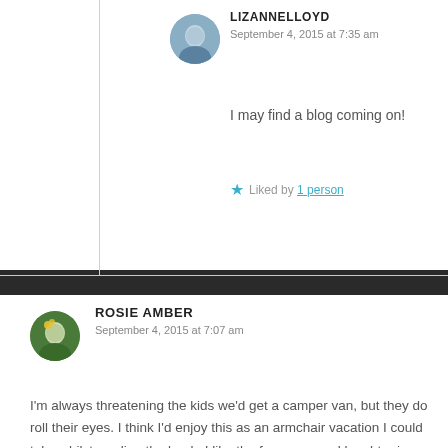LIZANNELLOYD
September 4, 2015 at 7:35 am
I may find a blog coming on!
Liked by 1 person
ROSIE AMBER
September 4, 2015 at 7:07 am
I'm always threatening the kids we'd get a camper van, but they do roll their eyes. I think I'd enjoy this as an armchair vacation I could take whilst reading the book. I like the fun cover and laughter is always good for the soul. A Buy from me.